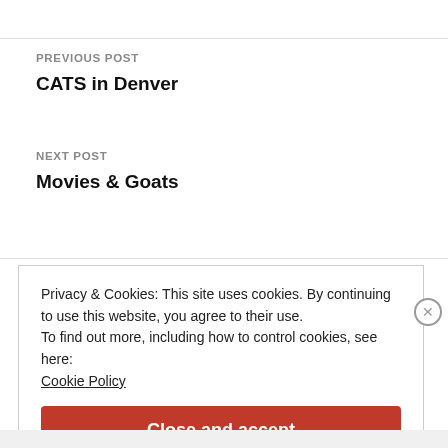PREVIOUS POST
CATS in Denver
NEXT POST
Movies & Goats
Privacy & Cookies: This site uses cookies. By continuing to use this website, you agree to their use.
To find out more, including how to control cookies, see here:
Cookie Policy
Close and accept